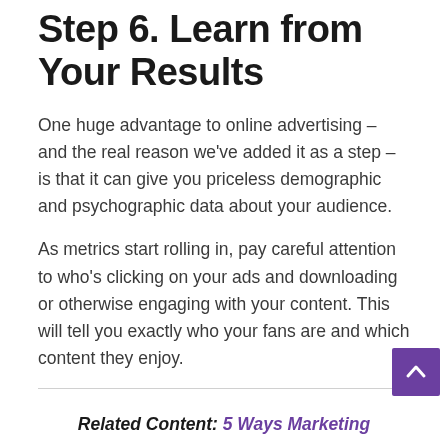Step 6. Learn from Your Results
One huge advantage to online advertising – and the real reason we’ve added it as a step – is that it can give you priceless demographic and psychographic data about your audience.
As metrics start rolling in, pay careful attention to who’s clicking on your ads and downloading or otherwise engaging with your content. This will tell you exactly who your fans are and which content they enjoy.
Related Content: 5 Ways Marketing